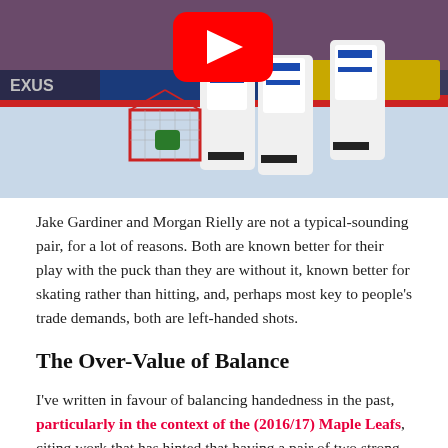[Figure (screenshot): YouTube video thumbnail showing Toronto Maple Leafs hockey players in white and blue jerseys near a goal on an NHL rink. A large red YouTube play button is visible in the upper center of the image.]
Jake Gardiner and Morgan Rielly are not a typical-sounding pair, for a lot of reasons. Both are known better for their play with the puck than they are without it, known better for skating rather than hitting, and, perhaps most key to people's trade demands, both are left-handed shots.
The Over-Value of Balance
I've written in favour of balancing handedness in the past, particularly in the context of the (2016/17) Maple Leafs, citing work that has hinted that having a pair of two strong-side defenseman has a possession benefit. I do believ